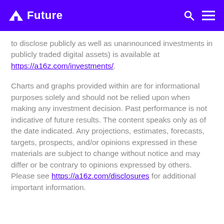Future
to disclose publicly as well as unannounced investments in publicly traded digital assets) is available at https://a16z.com/investments/.
Charts and graphs provided within are for informational purposes solely and should not be relied upon when making any investment decision. Past performance is not indicative of future results. The content speaks only as of the date indicated. Any projections, estimates, forecasts, targets, prospects, and/or opinions expressed in these materials are subject to change without notice and may differ or be contrary to opinions expressed by others. Please see https://a16z.com/disclosures for additional important information.